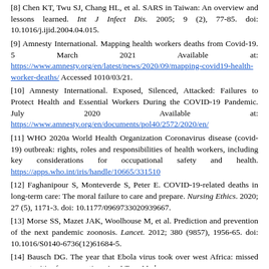[8] Chen KT, Twu SJ, Chang HL, et al. SARS in Taiwan: An overview and lessons learned. Int J Infect Dis. 2005; 9 (2), 77-85. doi: 10.1016/j.ijid.2004.04.015.
[9] Amnesty International. Mapping health workers deaths from Covid-19. 5 March 2021 Available at: https://www.amnesty.org/en/latest/news/2020/09/mapping-covid19-health-worker-deaths/ Accessed 1010/03/21.
[10] Amnesty International. Exposed, Silenced, Attacked: Failures to Protect Health and Essential Workers During the COVID-19 Pandemic. July 2020 Available at: https://www.amnesty.org/en/documents/pol40/2572/2020/en/
[11] WHO 2020a World Health Organization Coronavirus disease (covid-19) outbreak: rights, roles and responsibilities of health workers, including key considerations for occupational safety and health. https://apps.who.int/iris/handle/10665/331510
[12] Faghanipour S, Monteverde S, Peter E. COVID-19-related deaths in long-term care: The moral failure to care and prepare. Nursing Ethics. 2020; 27 (5), 1171-3. doi: 10.1177/0969733020939667.
[13] Morse SS, Mazet JAK, Woolhouse M, et al. Prediction and prevention of the next pandemic zoonosis. Lancet. 2012; 380 (9857), 1956-65. doi: 10.1016/S0140-6736(12)61684-5.
[14] Bausch DG. The year that Ebola virus took over west Africa: missed opportunities for prevention. Am J Trop Med